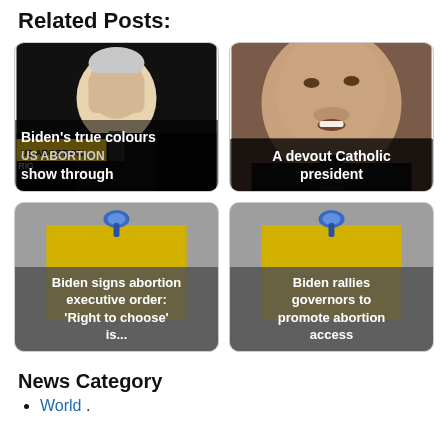Related Posts:
[Figure (photo): Biden's true colours show through - photo of Biden at podium with US Abortion Rights text overlay]
[Figure (photo): A devout Catholic president - close-up photo of Biden]
[Figure (illustration): Biden signs abortion executive order: 'Right to choose' is... - bulletin board with pushpin and sticky note]
[Figure (illustration): Biden rallies governors to promote abortion access - bulletin board with pushpin and sticky note]
News Category
World .